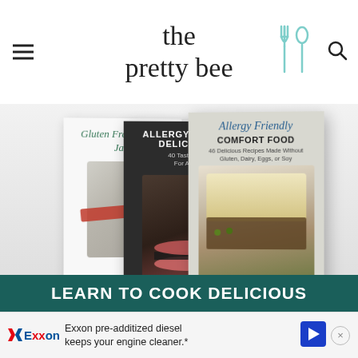the pretty bee
[Figure (photo): Three stacked cookbook covers: 'Gluten Free Gifts In Jars', 'Allergy Free & Delicious', and 'Allergy Friendly Comfort Food - 46 Delicious Recipes Made Without Gluten, Dairy, Eggs, or Soy']
LEARN TO COOK DELICIOUS
Exxon pre-additized diesel keeps your engine cleaner.*